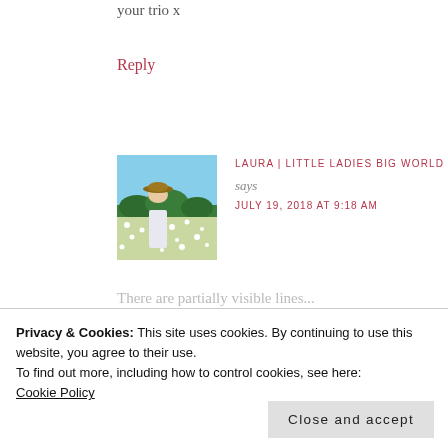your trio x
Reply
[Figure (photo): Woman in a white dress and sun hat standing in a field of white flowers with blue sky background]
LAURA | LITTLE LADIES BIG WORLD
says
JULY 19, 2018 AT 9:18 AM
There are some partially visible lines of comment text below the avatar
but I know I need to smile especially in the
Privacy & Cookies: This site uses cookies. By continuing to use this website, you agree to their use. To find out more, including how to control cookies, see here: Cookie Policy
Close and accept